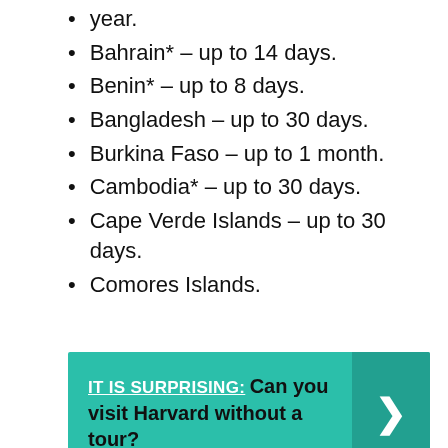year.
Bahrain* – up to 14 days.
Benin* – up to 8 days.
Bangladesh – up to 30 days.
Burkina Faso – up to 1 month.
Cambodia* – up to 30 days.
Cape Verde Islands – up to 30 days.
Comores Islands.
[Figure (infographic): Teal banner with text: IT IS SURPRISING: Can you visit Harvard without a tour? with a right-arrow chevron on the right side.]